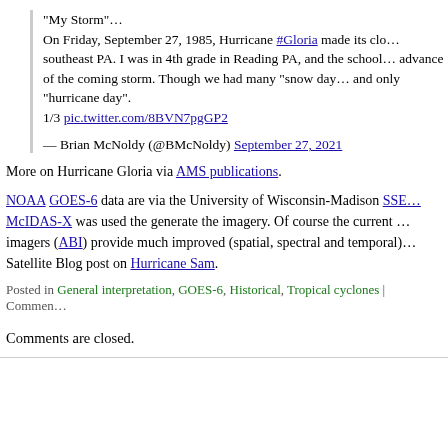"My Storm"…
On Friday, September 27, 1985, Hurricane #Gloria made its clo… southeast PA. I was in 4th grade in Reading PA, and the school… advance of the coming storm. Though we had many "snow day… and only "hurricane day".
1/3 pic.twitter.com/8BVN7pgGP2
— Brian McNoldy (@BMcNoldy) September 27, 2021
More on Hurricane Gloria via AMS publications.
NOAA GOES-6 data are via the University of Wisconsin-Madison SSE… McIDAS-X was used the generate the imagery. Of course the current … imagers (ABI) provide much improved (spatial, spectral and temporal)… Satellite Blog post on Hurricane Sam.
Posted in General interpretation, GOES-6, Historical, Tropical cyclones | Commen…
Comments are closed.